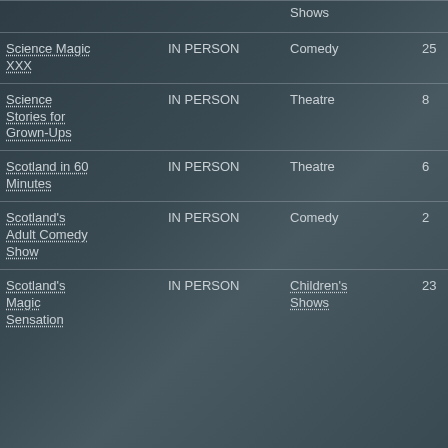| Show | Format | Genre | Count |
| --- | --- | --- | --- |
| Shows |  |  |  |
| Science Magic XXX | IN PERSON | Comedy | 25 |
| Science Stories for Grown-Ups | IN PERSON | Theatre | 8 |
| Scotland in 60 Minutes | IN PERSON | Theatre | 6 |
| Scotland's Adult Comedy Show | IN PERSON | Comedy | 2 |
| Scotland's Magic Sensation | IN PERSON | Children's Shows | 23 |